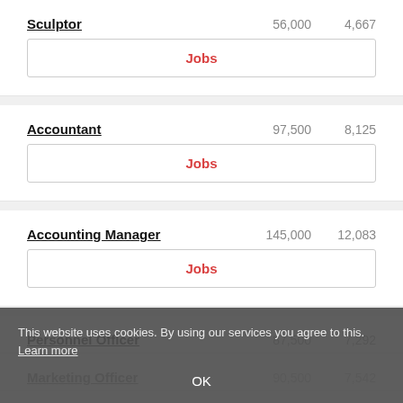Sculptor  56,000  4,667
Jobs
Accountant  97,500  8,125
Jobs
Accounting Manager  145,000  12,083
Jobs
Personnel Officer  87,500  7,292
Marketing Officer  90,500  7,542
This website uses cookies. By using our services you agree to this. Learn more
OK